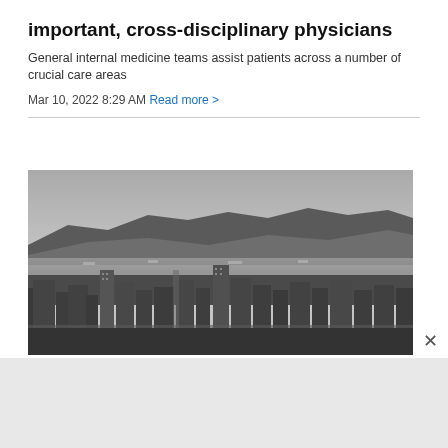important, cross-disciplinary physicians
General internal medicine teams assist patients across a number of crucial care areas
Mar 10, 2022 8:29 AM Read more >
[Figure (photo): Black and white aerial panoramic photograph of a city with mountains and a harbor/bay in the background. The foreground shows urban buildings, trees, and streets. The middle distance shows a large body of water with mountains beyond under an overcast sky.]